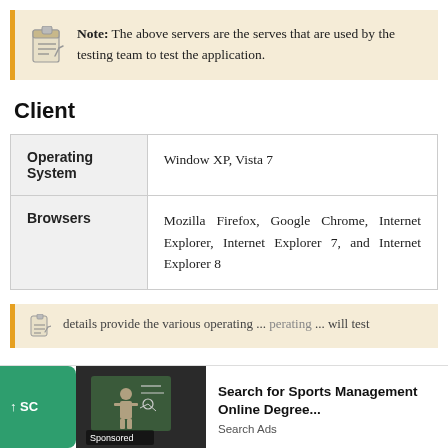Note: The above servers are the serves that are used by the testing team to test the application.
Client
| Operating System | Window XP, Vista 7 |
| Browsers | Mozilla Firefox, Google Chrome, Internet Explorer, Internet Explorer 7, and Internet Explorer 8 |
details provide the various operating ... will test
[Figure (screenshot): Advertisement overlay: Search for Sports Management Online Degree. Sponsored. Search Ads.]